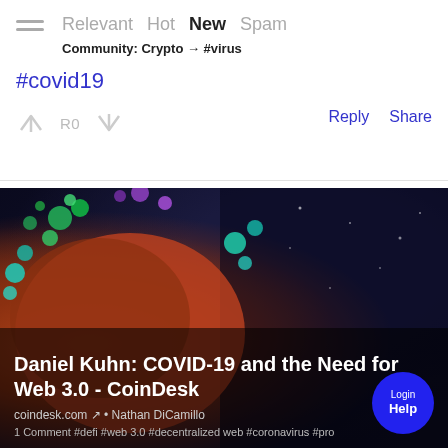Relevant Hot New Spam — Community: Crypto → #virus
#covid19
R0  Reply  Share
[Figure (photo): 3D render of a coronavirus particle close-up with colorful spike proteins (green, teal, purple) on a dark space-like background. Overlaid text: 'Daniel Kuhn: COVID-19 and the Need for Web 3.0 - CoinDesk'. Source: coindesk.com • Nathan DiCamillo. Tags: 1 Comment #defi #web 3.0 #decentralized web #coronavirus #pro...]